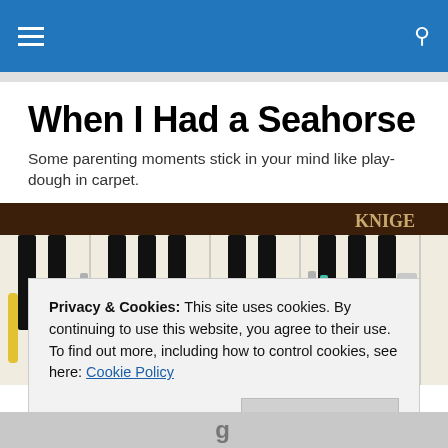Navigation bar with hamburger menu and search icon
When I Had a Seahorse
Some parenting moments stick in your mind like play-dough in carpet.
[Figure (photo): A piano keyboard with colorful toy utensils (forks, spoons, spatulas) placed on the keys, with 'KNIGE' visible on the piano's nameplate.]
Privacy & Cookies: This site uses cookies. By continuing to use this website, you agree to their use.
To find out more, including how to control cookies, see here: Cookie Policy
Close and accept